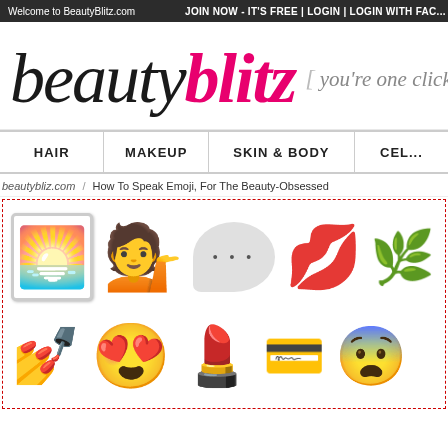Welcome to BeautyBlitz.com    JOIN NOW - IT'S FREE | LOGIN | LOGIN WITH FAC...
[Figure (logo): BeautyBlitz logo with 'beauty' in dark italic serif and 'blitz' in pink bold italic serif, with tagline 'you're one click b...' in script font]
HAIR | MAKEUP | SKIN & BODY | CEL...
beautybliz.com / How To Speak Emoji, For The Beauty-Obsessed
[Figure (illustration): Row of emoji: sunrise landscape framed, woman with hand raised, speech bubble with dots, red lips kiss, green plant sprout; second row: nail polish, heart-eyes face, lipstick, credit card, blue shocked face]